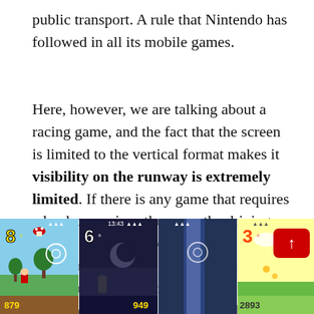public transport. A rule that Nintendo has followed in all its mobile games.
Here, however, we are talking about a racing game, and the fact that the screen is limited to the vertical format makes it visibility on the runway is extremely limited. If there is any game that requires a landscape view, those are the driving games, and in Mario Kart Tour it was presented more as a necessity than as a style option. Of course, this also translates into much more simplified and less rough routes, which in the end takes a lot out of the game when it comes to gameplay.
[Figure (screenshot): Four side-by-side screenshots from Mario Kart Tour mobile game showing different race positions (8th, 6th, 3rd) and scores (879, 949, 2893) with a red scroll-up button on the rightmost panel.]